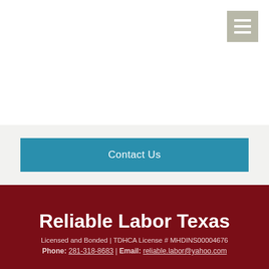[Figure (other): Hamburger menu icon button — three white horizontal bars on a grey-beige square background, positioned top-right]
Contact Us
Reliable Labor Texas
Licensed and Bonded | TDHCA License # MHDINS00004676
Phone: 281-318-8683 | Email: reliable.labor@yahoo.com